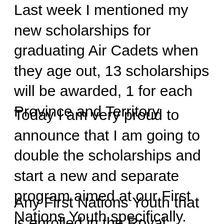Last week I mentioned my new scholarships for graduating Air Cadets when they age out, 13 scholarships will be awarded, 1 for each Province and Territory.
Today I am very proud to announce that I am going to double the scholarships and start a new and separate program aimed at our First Nations Youth specifically.
Any First Nations Youth that is enrolled in the Royal Canadian Air Cadet program...